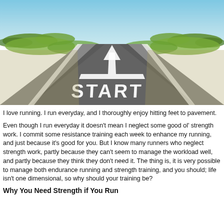[Figure (photo): Photograph of a long straight road receding into the distance under a blue sky with green shrubs on either side. The word START is painted in large white letters on the road surface, with a white arrow pointing forward above it.]
I love running. I run everyday, and I thoroughly enjoy hitting feet to pavement.
Even though I run everyday it doesn't mean I neglect some good ol' strength work. I commit some resistance training each week to enhance my running, and just because it's good for you. But I know many runners who neglect strength work, partly because they can't seem to manage the workload well, and partly because they think they don't need it. The thing is, it is very possible to manage both endurance running and strength training, and you should; life isn't one dimensional, so why should your training be?
Why You Need Strength if You Run